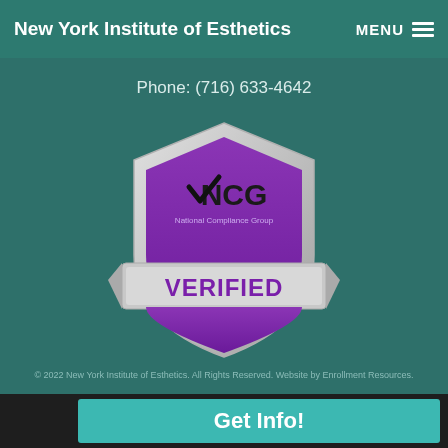New York Institute of Esthetics  MENU
Phone: (716) 633-4642
[Figure (logo): NCG National Compliance Group shield badge in purple and silver with text: VERIFIED ADA COMPLIANT WEBSITE]
© 2022 New York Institute of Esthetics. All Rights Reserved. Website by Enrollment Resources.
Get Info!